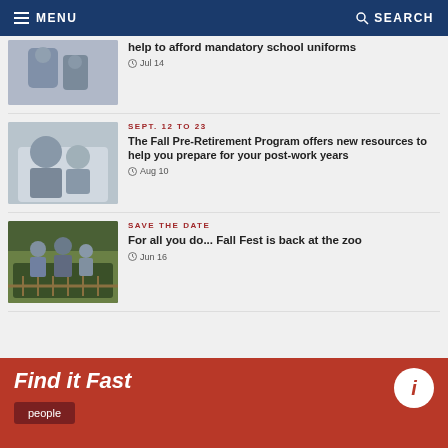MENU  SEARCH
help to afford mandatory school uniforms
Jul 14
SEPT. 12 TO 23
The Fall Pre-Retirement Program offers new resources to help you prepare for your post-work years
Aug 10
SAVE THE DATE
For all you do... Fall Fest is back at the zoo
Jun 16
Find it Fast
people